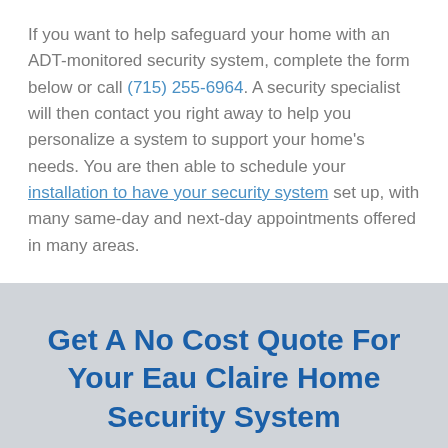If you want to help safeguard your home with an ADT-monitored security system, complete the form below or call (715) 255-6964. A security specialist will then contact you right away to help you personalize a system to support your home's needs. You are then able to schedule your installation to have your security system set up, with many same-day and next-day appointments offered in many areas.
Get A No Cost Quote For Your Eau Claire Home Security System